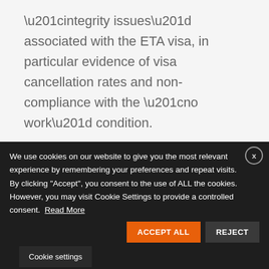“integrity issues” associated with the ETA visa, in particular evidence of visa cancellation rates and non-compliance with the “no work” condition.
This is therefore a timely reminder of the importance of abiding by this visa condition.
We use cookies on our website to give you the most relevant experience by remembering your preferences and repeat visits. By clicking “Accept”, you consent to the use of ALL the cookies. However, you may visit Cookie Settings to provide a controlled consent. Read More